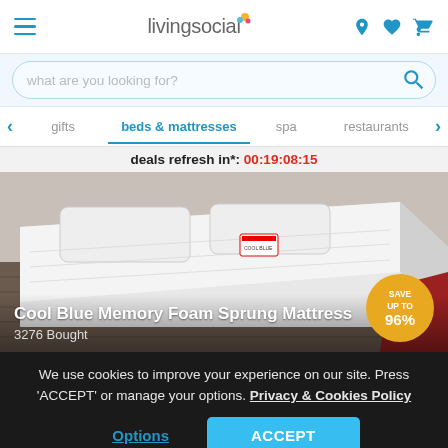livingsocial
what are you looking for?
gifts  beds & mattresses  spa  restaurants
deals refresh in*: 00:19:08:15
[Figure (photo): White mattress on wooden floor with red rug corner visible – Cool Blue Memory Foam Sprung Mattress product photo]
Cool Blue Memory Foam Sprung Mattress
3276 Bought
SAVE UP TO 96%
We use cookies to improve your experience on our site. Press 'ACCEPT' or manage your options. Privacy & Cookies Policy
Options
ACCEPT